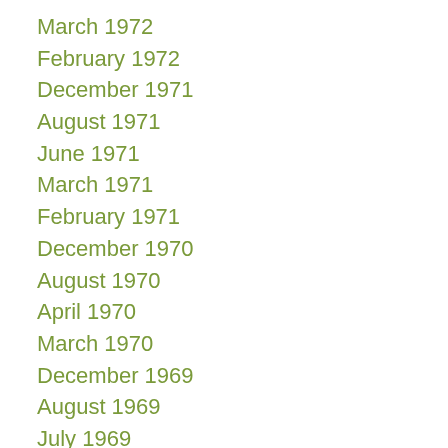March 1972
February 1972
December 1971
August 1971
June 1971
March 1971
February 1971
December 1970
August 1970
April 1970
March 1970
December 1969
August 1969
July 1969
June 1969
May 1969
March 1969